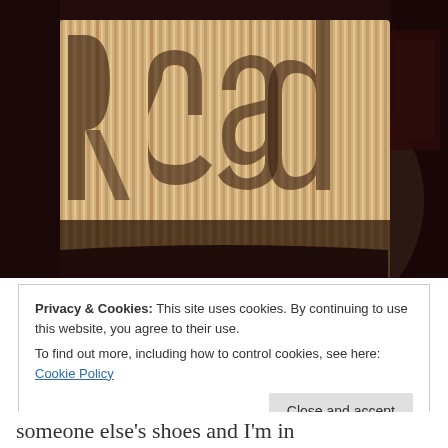[Figure (photo): A book sculpture with folded pages forming letters, photographed against a dark background. The folded pages create raised letter forms spelling 'Read' or similar word, with warm tan/cream tones on the book pages.]
Privacy & Cookies: This site uses cookies. By continuing to use this website, you agree to their use.
To find out more, including how to control cookies, see here: Cookie Policy
Close and accept
someone else's shoes and I'm in